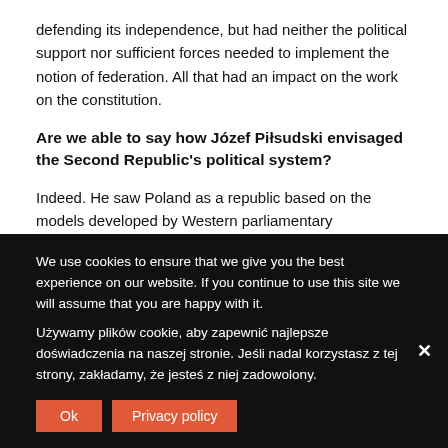defending its independence, but had neither the political support nor sufficient forces needed to implement the notion of federation. All that had an impact on the work on the constitution.
Are we able to say how Józef Piłsudski envisaged the Second Republic's political system?
Indeed. He saw Poland as a republic based on the models developed by Western parliamentary democracies. He regarded economic and social reforms modelled on Western ones as a necessary condition for strengthening the state and making it a modern country. On the other hand, he was against a mechanical adoption of foreign
We use cookies to ensure that we give you the best experience on our website. If you continue to use this site we will assume that you are happy with it.
Używamy plików cookie, aby zapewnić najlepsze doświadczenia na naszej stronie. Jeśli nadal korzystasz z tej strony, zakładamy, że jesteś z niej zadowolony.